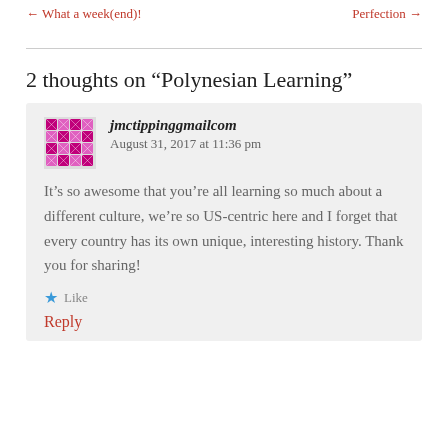← What a week(end)!   Perfection →
2 thoughts on “Polynesian Learning”
jmctippinggmailcom  August 31, 2017 at 11:36 pm
It’s so awesome that you’re all learning so much about a different culture, we’re so US-centric here and I forget that every country has its own unique, interesting history. Thank you for sharing!
★ Like
Reply